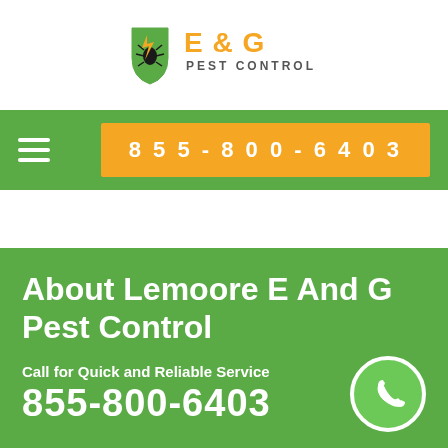[Figure (logo): E & G Pest Control logo with shield icon containing a bug and lightning bolt]
855-800-6403
About Lemoore E And G Pest Control
Call for Quick and Reliable Service
855-800-6403